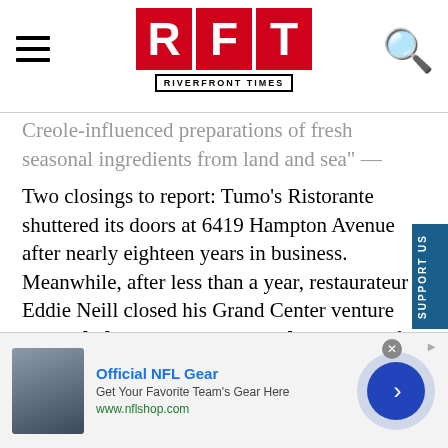RFT RIVERFRONT TIMES
Creole-influenced preparations of fresh seasonal ingredients from land and sea" — from local chef and restaurant consultant Eric Brenner of Moxy.
Two closings to report: Tumo's Ristorante shuttered its doors at 6419 Hampton Avenue after nearly eighteen years in business. Meanwhile, after less than a year, restaurateur Eddie Neill closed his Grand Center venture Wm. Shakespeare's Gastropub, a victim of the economy and the apparent Curse of Grand Center.
Are you opening a new restaurant? Know of a place that
[Figure (screenshot): Advertisement banner for Official NFL Gear from nflshop.com with a jersey image and a blue arrow button]